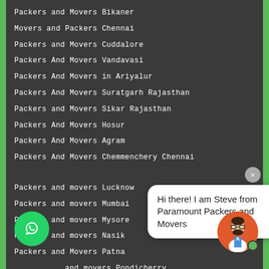Packers and Movers Bikaner
Movers and Packers Chennai
Packers and Movers Cuddalore
Packers And Movers Vandavasi
Packers And Movers in Ariyalur
Packers And Movers Suratgarh Rajasthan
Packers and Movers Sikar Rajasthan
Packers And Movers Hosur
Packers And Movers Agram
Packers And Movers Chemmenchery Chennai
Packers and movers Lucknow
Packers and movers Mumbai
Packers and movers Mysore
Packers and movers Nasik
Packers and Movers Patna
Packers and movers Pondicherry
Packers and movers Pune
Packers and movers Ranipet
Packers and Movers Naidupet
Hi there! I am Steve from Paramount Packers and Movers
[Figure (illustration): WhatsApp green circle button icon]
[Figure (illustration): Avatar of Steve, a cartoon man with glasses and beard on orange background, with green online dot]